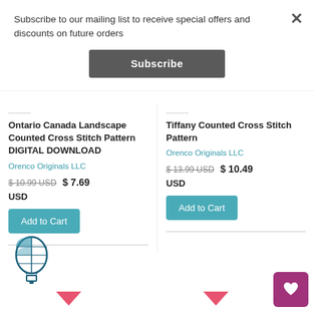Subscribe to our mailing list to receive special offers and discounts on future orders
Subscribe
Ontario Canada Landscape Counted Cross Stitch Pattern DIGITAL DOWNLOAD
Orenco Originals LLC
$ 10.99 USD  $ 7.69 USD
Add to Cart
Tiffany Counted Cross Stitch Pattern
Orenco Originals LLC
$ 13.99 USD  $ 10.49 USD
Add to Cart
[Figure (logo): Hot air balloon logo icon in teal/dark blue outline style]